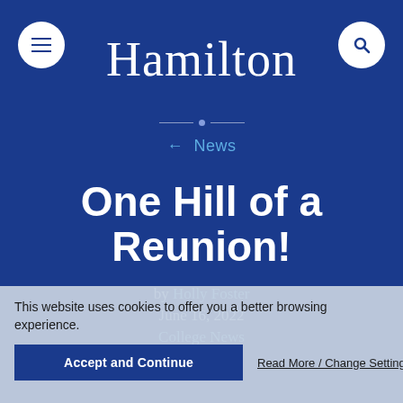Hamilton
← News
One Hill of a Reunion!
by Holly Foster
June 16, 2022
College News
This website uses cookies to offer you a better browsing experience.
Accept and Continue   Read More / Change Settings